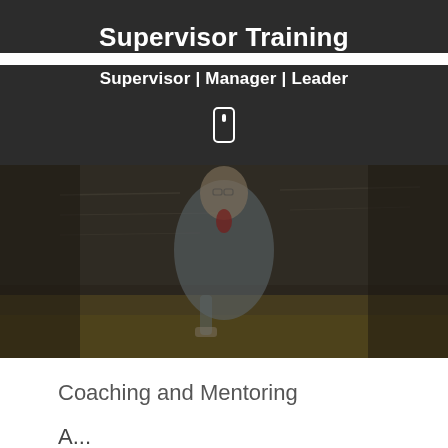Supervisor Training
Supervisor | Manager | Leader
[Figure (photo): Person (instructor or supervisor) standing in front of a chalkboard, wearing glasses and a grey shirt, holding something. Background includes a golden/yellow seat area.]
Coaching and Mentoring
A...